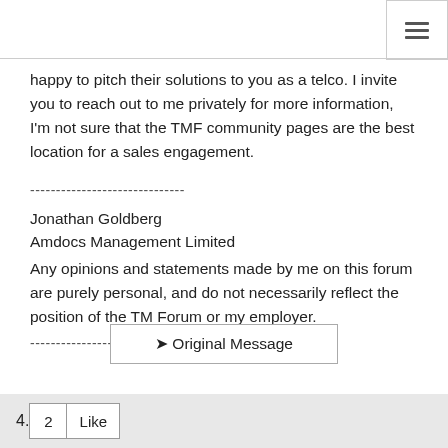happy to pitch their solutions to you as a telco. I invite you to reach out to me privately for more information, I'm not sure that the TMF community pages are the best location for a sales engagement.
------------------------------
Jonathan Goldberg
Amdocs Management Limited
Any opinions and statements made by me on this forum are purely personal, and do not necessarily reflect the position of the TM Forum or my employer.
------------------------------
➤ Original Message
4.
2 Like